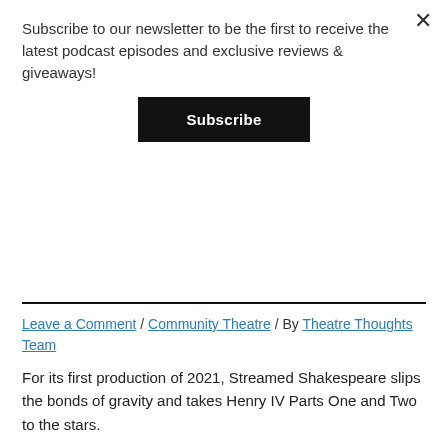Subscribe to our newsletter to be the first to receive the latest podcast episodes and exclusive reviews & giveaways!
Subscribe
Leave a Comment / Community Theatre / By Theatre Thoughts Team
For its first production of 2021, Streamed Shakespeare slips the bonds of gravity and takes Henry IV Parts One and Two to the stars.
PUFFS auditions are now open!
Leave a Comment / Uncategorized / By Theatre Thoughts Team